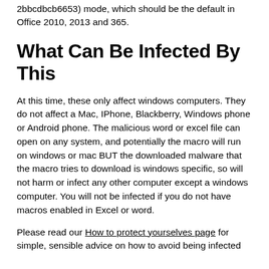2bbcdbcb6653) mode, which should be the default in Office 2010, 2013 and 365.
What Can Be Infected By This
At this time, these only affect windows computers. They do not affect a Mac, IPhone, Blackberry, Windows phone or Android phone. The malicious word or excel file can open on any system, and potentially the macro will run on windows or mac BUT the downloaded malware that the macro tries to download is windows specific, so will not harm or infect any other computer except a windows computer. You will not be infected if you do not have macros enabled in Excel or word.
Please read our How to protect yourselves page for simple, sensible advice on how to avoid being infected